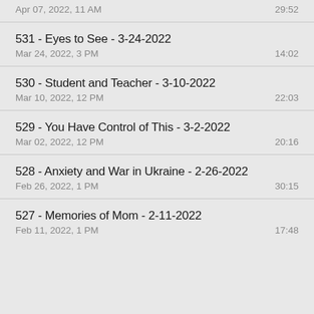Apr 07, 2022, 11 AM — 29:52
531 - Eyes to See - 3-24-2022
Mar 24, 2022, 3 PM — 14:02
530 - Student and Teacher - 3-10-2022
Mar 10, 2022, 12 PM — 22:03
529 - You Have Control of This - 3-2-2022
Mar 02, 2022, 12 PM — 20:16
528 - Anxiety and War in Ukraine - 2-26-2022
Feb 26, 2022, 1 PM — 30:15
527 - Memories of Mom - 2-11-2022
Feb 11, 2022, 1 PM — 17:48